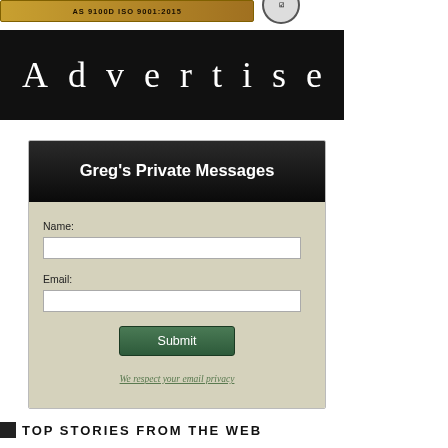[Figure (other): Gold/khaki colored banner with text 'AS 9100D ISO 9001:2015' and a circular certification logo]
[Figure (other): Black banner with white spaced-out text reading 'Advertise']
[Figure (other): Contact form widget titled 'Greg's Private Messages' with Name and Email fields, a Submit button, and a privacy note]
TOP STORIES FROM THE WEB